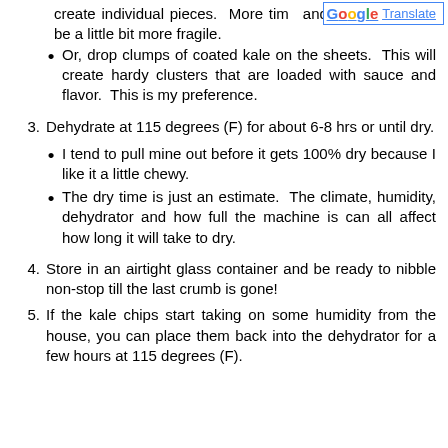Or, drop clumps of coated kale on the sheets. This will create hardy clusters that are loaded with sauce and flavor. This is my preference.
3. Dehydrate at 115 degrees (F) for about 6-8 hrs or until dry.
I tend to pull mine out before it gets 100% dry because I like it a little chewy.
The dry time is just an estimate. The climate, humidity, dehydrator and how full the machine is can all affect how long it will take to dry.
4. Store in an airtight glass container and be ready to nibble non-stop till the last crumb is gone!
5. If the kale chips start taking on some humidity from the house, you can place them back into the dehydrator for a few hours at 115 degrees (F).